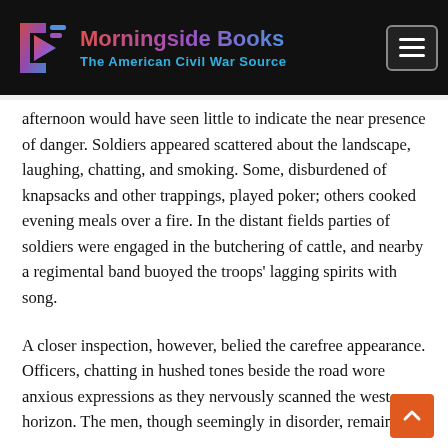Morningside Books – The American Civil War Source
afternoon would have seen little to indicate the near presence of danger. Soldiers appeared scattered about the landscape, laughing, chatting, and smoking. Some, disburdened of knapsacks and other trappings, played poker; others cooked evening meals over a fire. In the distant fields parties of soldiers were engaged in the butchering of cattle, and nearby a regimental band buoyed the troops' lagging spirits with song.
A closer inspection, however, belied the carefree appearance. Officers, chatting in hushed tones beside the road wore anxious expressions as they nervously scanned the western horizon. The men, though seemingly in disorder, remained